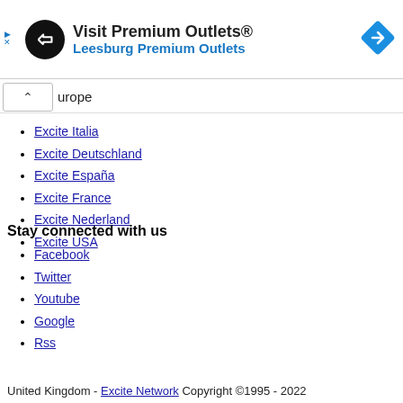[Figure (logo): Advertisement banner for Visit Premium Outlets / Leesburg Premium Outlets with circular logo and blue diamond arrow icon]
urope
Excite Italia
Excite Deutschland
Excite España
Excite France
Excite Nederland
Excite USA
Stay connected with us
Facebook
Twitter
Youtube
Google
Rss
United Kingdom - Excite Network Copyright ©1995 - 2022